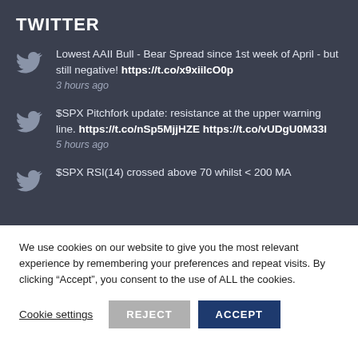TWITTER
Lowest AAII Bull - Bear Spread since 1st week of April - but still negative! https://t.co/x9xiilcO0p
3 hours ago
$SPX Pitchfork update: resistance at the upper warning line. https://t.co/nSp5MjjHZE https://t.co/vUDgU0M33I
5 hours ago
$SPX RSI(14) crossed above 70 whilst < 200 MA
We use cookies on our website to give you the most relevant experience by remembering your preferences and repeat visits. By clicking “Accept”, you consent to the use of ALL the cookies.
Cookie settings  REJECT  ACCEPT